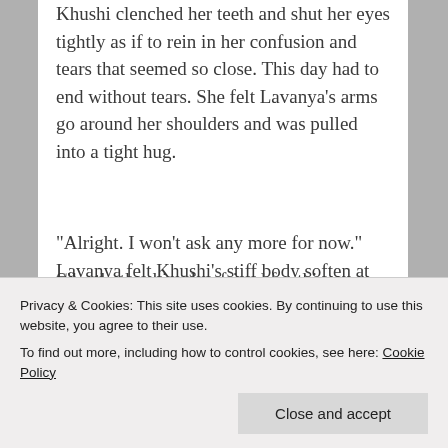Khushi clenched her teeth and shut her eyes tightly as if to rein in her confusion and tears that seemed so close. This day had to end without tears. She felt Lavanya’s arms go around her shoulders and was pulled into a tight hug.
“Alright. I won’t ask any more for now.” Lavanya felt Khushi’s stiff body soften at her reassurance. “Are you going to give me your keys? Is there a list of things I need to take care of when you aren’t
Silently thanking her friend for this reprieve,
Privacy & Cookies: This site uses cookies. By continuing to use this website, you agree to their use.
To find out more, including how to control cookies, see here: Cookie Policy